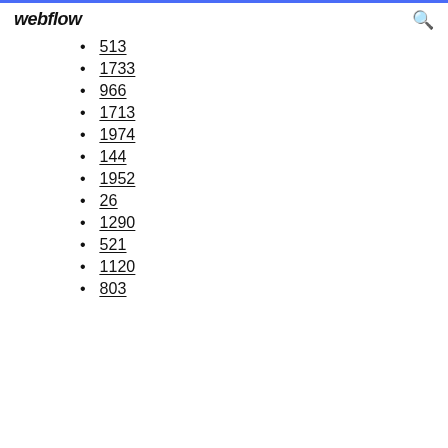webflow
513
1733
966
1713
1974
144
1952
26
1290
521
1120
803